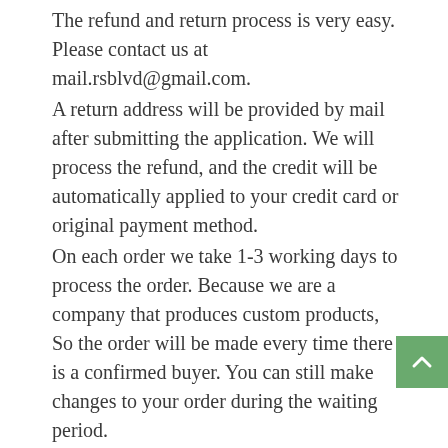The refund and return process is very easy. Please contact us at mail.rsblvd@gmail.com.
A return address will be provided by mail after submitting the application. We will process the refund, and the credit will be automatically applied to your credit card or original payment method.
On each order we take 1-3 working days to process the order. Because we are a company that produces custom products, So the order will be made every time there is a confirmed buyer. You can still make changes to your order during the waiting period.
Return Policy
Our policy is valid for 30 days. If 30 days have passed since your purchase, we cannot offer a refund or exchange. We will pay for the return shipping fee, if the item you received is wrong or damaged. Please note, you usually have to pay return shipping charges, but there are exceptions for some of the...